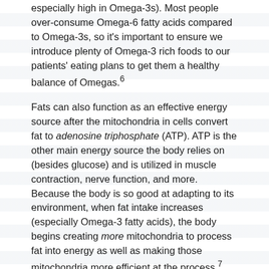especially high in Omega-3s). Most people over-consume Omega-6 fatty acids compared to Omega-3s, so it's important to ensure we introduce plenty of Omega-3 rich foods to our patients' eating plans to get them a healthy balance of Omegas.⁶
Fats can also function as an effective energy source after the mitochondria in cells convert fat to adenosine triphosphate (ATP). ATP is the other main energy source the body relies on (besides glucose) and is utilized in muscle contraction, nerve function, and more. Because the body is so good at adapting to its environment, when fat intake increases (especially Omega-3 fatty acids), the body begins creating more mitochondria to process fat into energy as well as making those mitochondria more efficient at the process.⁷
Fat is often demonized because it's the most calorie-dense of the three macros, and certain types are decidedly unhealthy. However, when a focus is put on quality fats, they become instrumental to a healthy diet and can